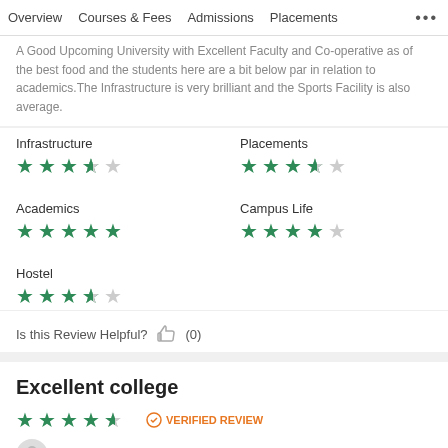Overview | Courses & Fees | Admissions | Placements | ...
A Good Upcoming University with Excellent Faculty and Co-operative as of the best food and the students here are a bit below par in relation to academics.The Infrastructure is very brilliant and the Sports Facility is also average.
Infrastructure ★★★★☆ | Placements ★★★★☆ | Academics ★★★★★ | Campus Life ★★★★☆ | Hostel ★★★★☆
Is this Review Helpful? 👍 (0)
Excellent college
★★★★½ VERIFIED REVIEW
Posted on 19 Jun' 15 by Anonymous